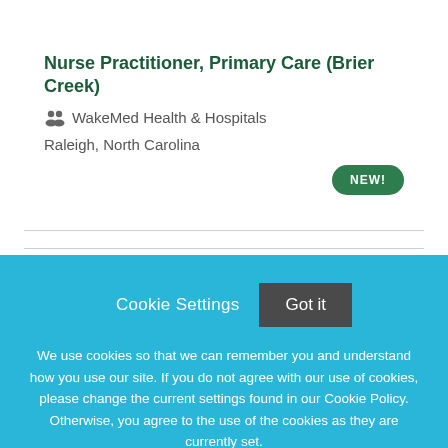Nurse Practitioner, Primary Care (Brier Creek)
WakeMed Health & Hospitals
Raleigh, North Carolina
NEW!
Cookie Settings
Got it
We use cookies so that we can remember you and understand how you use our site. If you do not agree with our use of cookies, please change the current settings found in our Cookie Policy. Otherwise, you agree to the use of the cookies as they are currently set.